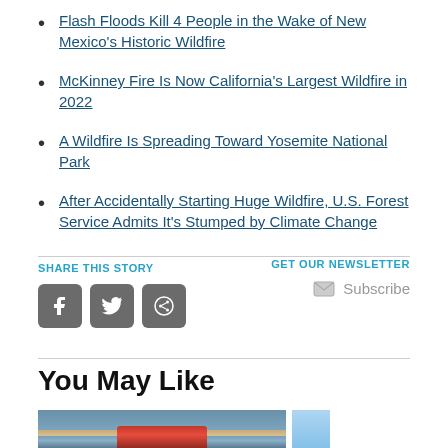Flash Floods Kill 4 People in the Wake of New Mexico's Historic Wildfire
McKinney Fire Is Now California's Largest Wildfire in 2022
A Wildfire Is Spreading Toward Yosemite National Park
After Accidentally Starting Huge Wildfire, U.S. Forest Service Admits It's Stumped by Climate Change
SHARE THIS STORY
GET OUR NEWSLETTER
Subscribe
You May Like
[Figure (photo): Photo of a red car on a beach with ocean in the background]